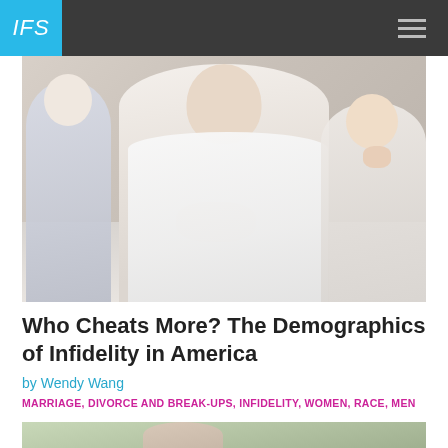IFS
[Figure (photo): A man sitting with his fists under his chin looking troubled, with two women in the background — one on the left in a blue top, one on the right with her hand near her mouth.]
Who Cheats More? The Demographics of Infidelity in America
by Wendy Wang
MARRIAGE, DIVORCE AND BREAK-UPS, INFIDELITY, WOMEN, RACE, MEN
[Figure (photo): Partial view of a second photo at the bottom of the page, showing outdoor scene with people.]